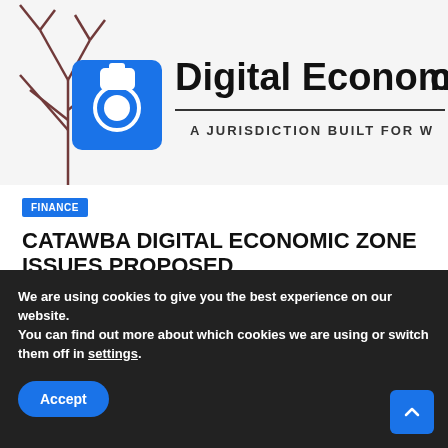[Figure (screenshot): Catawba Digital Economic Zone logo header — blue camera icon, bold 'Digital Economic' text partially visible, tagline 'A JURISDICTION BUILT FOR W...' partially visible, dark branching graphic on left]
FINANCE
CATAWBA DIGITAL ECONOMIC ZONE ISSUES PROPOSED
AUG 21, 2022
DAO Rule Notice by the Zone Authority of the CDEZ,
We are using cookies to give you the best experience on our website.
You can find out more about which cookies we are using or switch them off in settings.